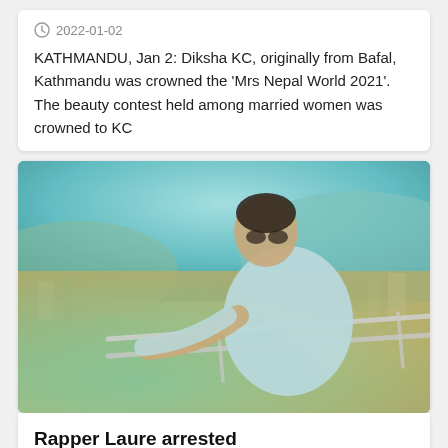2022-01-02
KATHMANDU, Jan 2: Diksha KC, originally from Bafal, Kathmandu was crowned the ‘Mrs Nepal World 2021’. The beauty contest held among married women was crowned to KC
[Figure (photo): Young man wearing sunglasses and a light blue t-shirt leaning on a metal railing with a blurred cityscape and hills in the background]
Rapper Laure arrested